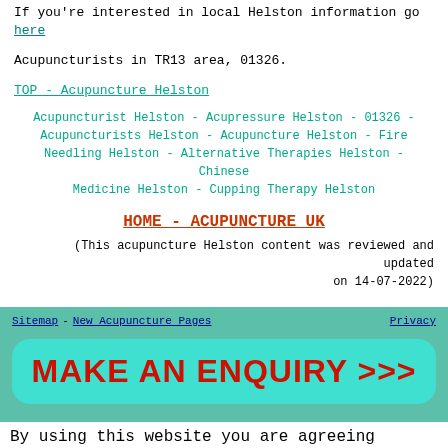If you're interested in local Helston information go here
Acupuncturists in TR13 area, 01326.
TOP - Acupuncture Helston
Acupuncturist Helston - Acupressure Helston - 01326 - Acupuncturists Helston - Acupuncture Helston - Fire Needling Helston - Alternative Therapies Helston - Chinese Medicine Helston - Cupping Therapy Helston
HOME - ACUPUNCTURE UK
(This acupuncture Helston content was reviewed and updated on 14-07-2022)
Sitemap - New Acupuncture Pages    Privacy
[Figure (other): Make an Enquiry button in red bold text on teal/cyan rounded rectangle background]
By using this website you are agreeing
0 SHARES